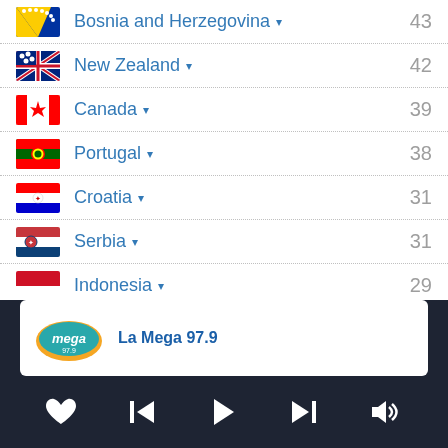Bosnia and Herzegovina 43
New Zealand 42
Canada 39
Portugal 38
Croatia 31
Serbia 31
Indonesia 29
[Figure (logo): La Mega 97.9 radio station logo - oval shape with orange and teal/green colors]
La Mega 97.9